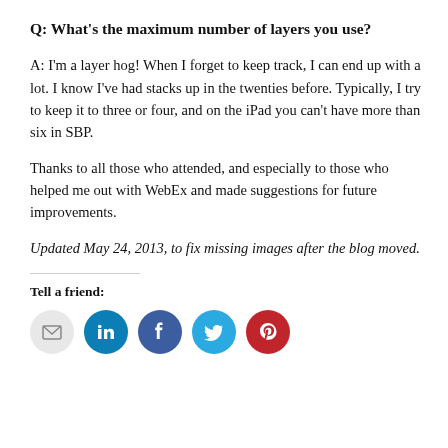Q: What's the maximum number of layers you use?
A: I'm a layer hog! When I forget to keep track, I can end up with a lot. I know I've had stacks up in the twenties before. Typically, I try to keep it to three or four, and on the iPad you can't have more than six in SBP.
Thanks to all those who attended, and especially to those who helped me out with WebEx and made suggestions for future improvements.
Updated May 24, 2013, to fix missing images after the blog moved.
Tell a friend: